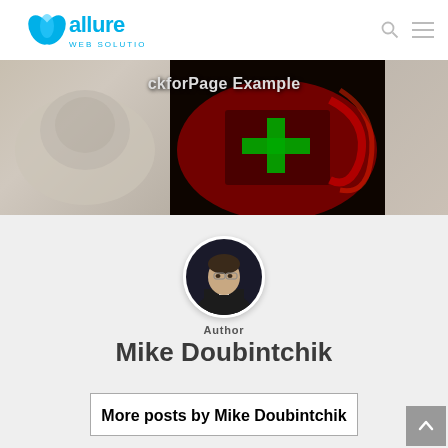[Figure (logo): Allure Web Solutions logo — blue stylized text with water drop icon]
[Figure (photo): Hero image strip: left portion shows a blurred cat on white bedding, center shows a dark abstract image with green/red light effects, right continues the blurred cat background]
Author
Mike Doubintchik
[Figure (photo): Circular avatar photo of Mike Doubintchik, a man in a dark suit standing in a dimly lit setting]
More posts by Mike Doubintchik